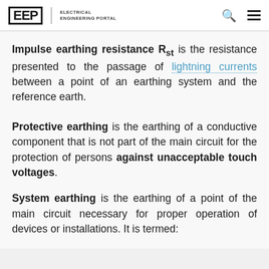EEP | ELECTRICAL ENGINEERING PORTAL
Impulse earthing resistance R_st is the resistance presented to the passage of lightning currents between a point of an earthing system and the reference earth.
Protective earthing is the earthing of a conductive component that is not part of the main circuit for the protection of persons against unacceptable touch voltages.
System earthing is the earthing of a point of the main circuit necessary for proper operation of devices or installations. It is termed: